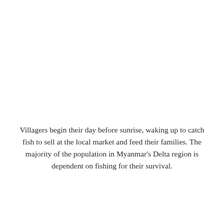Villagers begin their day before sunrise, waking up to catch fish to sell at the local market and feed their families. The majority of the population in Myanmar's Delta region is dependent on fishing for their survival.